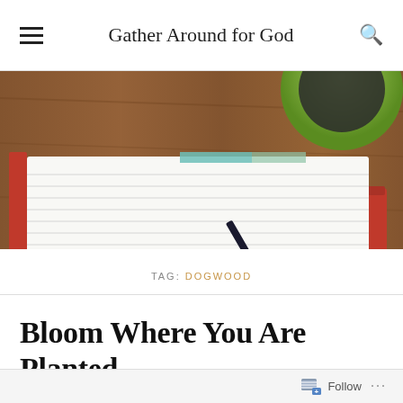Gather Around for God
[Figure (photo): Overhead view of a red-covered lined notebook with a pen resting on it and a green mug in the upper right corner, on a wooden table.]
TAG: DOGWOOD
Bloom Where You Are Planted
ON APRIL 30, 2017 / BY LESLIE / 0 COMMENTS